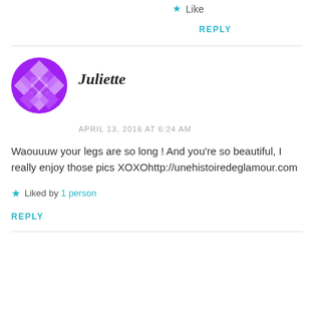Like
REPLY
[Figure (illustration): Purple mosaic/geometric pattern avatar for user Juliette]
Juliette
APRIL 13, 2016 AT 6:24 AM
Waouuuw your legs are so long ! And you're so beautiful, I really enjoy those pics XOXOhttp://unehistoiredeglamour.com
Liked by 1 person
REPLY